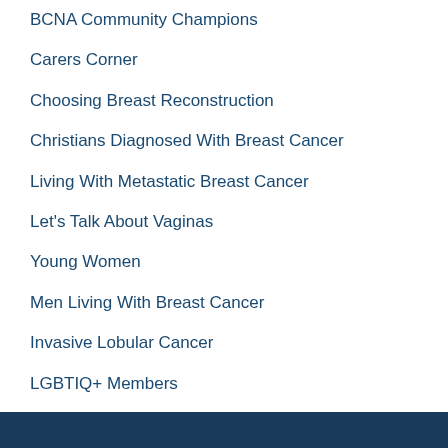BCNA Community Champions
Carers Corner
Choosing Breast Reconstruction
Christians Diagnosed With Breast Cancer
Living With Metastatic Breast Cancer
Let's Talk About Vaginas
Young Women
Men Living With Breast Cancer
Invasive Lobular Cancer
LGBTIQ+ Members